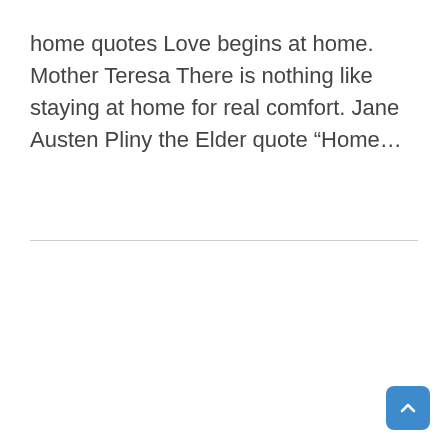home quotes Love begins at home. Mother Teresa There is nothing like staying at home for real comfort. Jane Austen Pliny the Elder quote “Home…